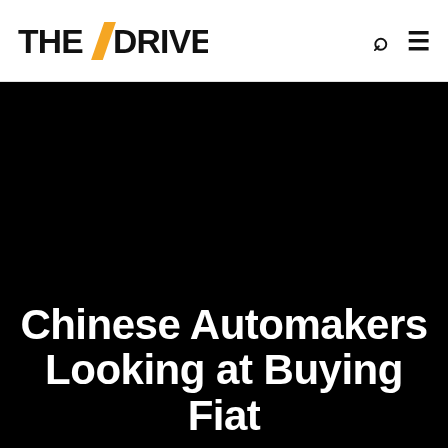THE DRIVE
[Figure (photo): Dark/black hero image background for article about Chinese Automakers Looking at Buying Fiat]
Chinese Automakers Looking at Buying Fiat